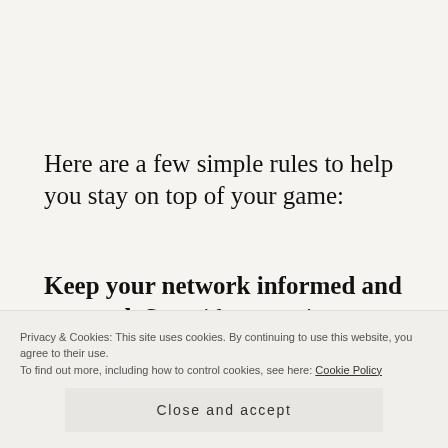Here are a few simple rules to help you stay on top of your game:
Keep your network informed and engaged. Set aside a certain amount of time each week to do this.  I can't say it enough – networking makes a difference!  Regardless of your seeking employment, it's a way to remind your
Privacy & Cookies: This site uses cookies. By continuing to use this website, you agree to their use.
To find out more, including how to control cookies, see here: Cookie Policy
Close and accept